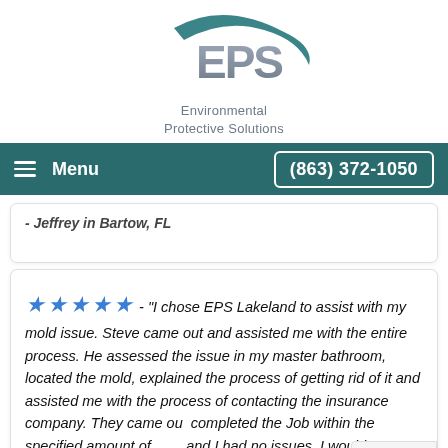[Figure (logo): EPS Environmental Protective Solutions logo with teal swoosh arc and silver EPS lettering, with text 'Environmental Protective Solutions' below]
Menu  (863) 372-1050
- "I chose EPS Lakeland to assist with my mold issue. Steve came out and assisted me with the entire process. He assessed the issue in my master bathroom, located the mold, explained the process of getting rid of it and assisted me with the process of contacting the insurance company. They came out and completed the Job within the specified amount of time and I had no issues. I would definitely recommend them to anyone - contact directly in the future."